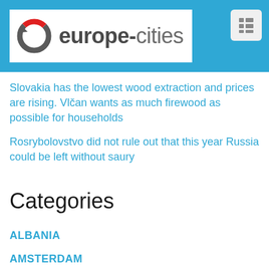[Figure (logo): europe-cities website logo with circular arrow icon in gray and red, text 'europe-cities' in gray]
Slovakia has the lowest wood extraction and prices are rising. Vlčan wants as much firewood as possible for households
Rosrybolovstvo did not rule out that this year Russia could be left without saury
Categories
ALBANIA
AMSTERDAM